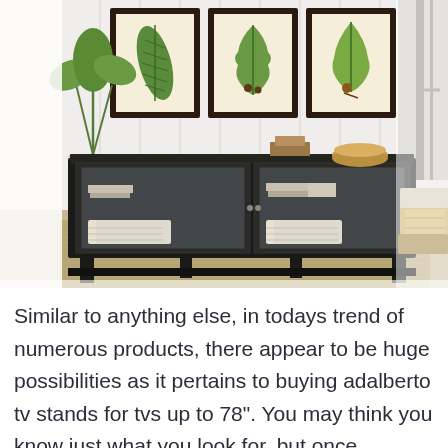[Figure (photo): A black wood TV stand/sideboard with glass-paneled doors, white wicker baskets inside, books and bowls on top, displayed in a styled living room with three botanical framed prints on a white paneled wall above, a potted plant on the left, and a wicker chair partially visible on the right.]
Similar to anything else, in todays trend of numerous products, there appear to be huge possibilities as it pertains to buying adalberto tv stands for tvs up to 78". You may think you know just what you look for, but once